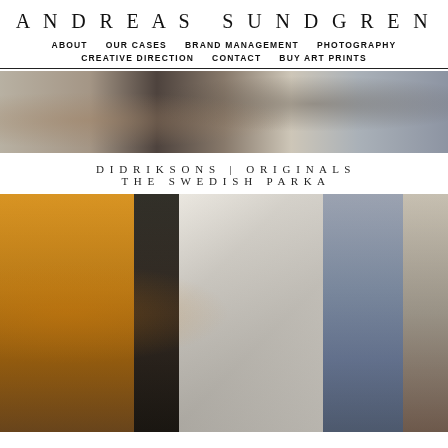ANDREAS SUNDGREN
ABOUT  OUR CASES  BRAND MANAGEMENT  PHOTOGRAPHY  CREATIVE DIRECTION  CONTACT  BUY ART PRINTS
[Figure (photo): Behind-the-scenes photo showing people sitting on chairs in what appears to be an indoor shoot location]
DIDRIKSONS | ORIGINALS
THE SWEDISH PARKA
[Figure (photo): Behind-the-scenes fashion photography shoot. A woman wearing a bright yellow parka coat stands in the foreground (left), while in the background a blonde woman in a denim jacket poses and a man photographs her in what appears to be a studio or warehouse space with wooden frames and props.]